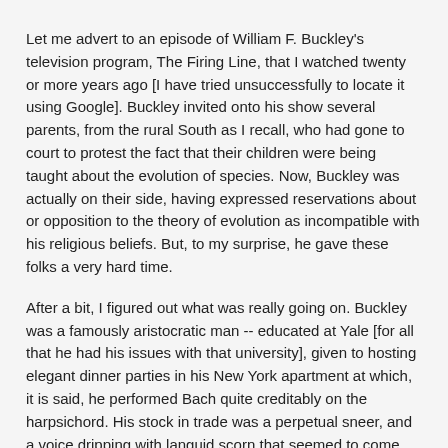Let me advert to an episode of William F. Buckley's television program, The Firing Line, that I watched twenty or more years ago [I have tried unsuccessfully to locate it using Google]. Buckley invited onto his show several parents, from the rural South as I recall, who had gone to court to protest the fact that their children were being taught about the evolution of species. Now, Buckley was actually on their side, having expressed reservations about or opposition to the theory of evolution as incompatible with his religious beliefs. But, to my surprise, he gave these folks a very hard time.
After a bit, I figured out what was really going on. Buckley was a famously aristocratic man -- educated at Yale [for all that he had his issues with that university], given to hosting elegant dinner parties in his New York apartment at which, it is said, he performed Bach quite creditably on the harpsichord. His stock in trade was a perpetual sneer, and a voice dripping with languid scorn that seemed to come right out of a novel by Evelyn Waugh.